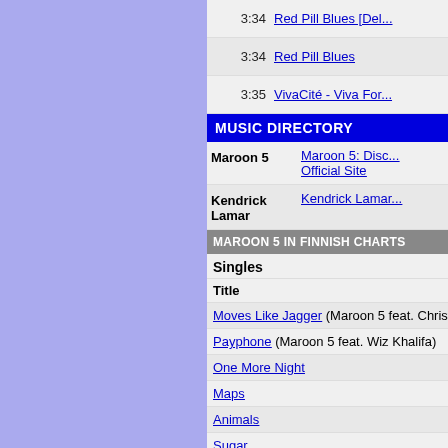[Figure (other): Light blue/lavender left panel background]
| Time | Track/Album |
| --- | --- |
| 3:34 | Red Pill Blues [Del... |
| 3:34 | Red Pill Blues |
| 3:35 | VivaCité - Viva For... |
MUSIC DIRECTORY
| Artist | Links |
| --- | --- |
| Maroon 5 | Maroon 5: Disc... Official Site |
| Kendrick Lamar | Kendrick Lamar... |
MAROON 5 IN FINNISH CHARTS
Singles
Title
Moves Like Jagger (Maroon 5 feat. Christina Agui...
Payphone (Maroon 5 feat. Wiz Khalifa)
One More Night
Maps
Animals
Sugar
This Summer
Don't Wanna Know (Maroon 5 feat. Kendrick Lam...
Cold (Maroon 5 feat. Future)
Girls Like You (Maroon 5 feat. Cardi B)
Memories
Albums